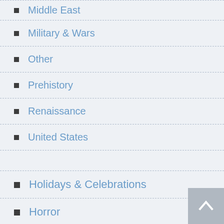Middle East
Military & Wars
Other
Prehistory
Renaissance
United States
Holidays & Celebrations
Horror